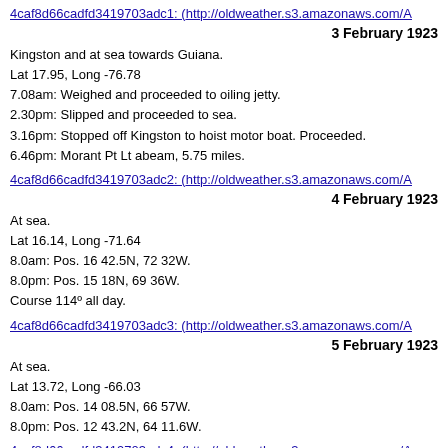4caf8d66cadfd3419703adc1: (http://oldweather.s3.amazonaws.com/A
3 February 1923
Kingston and at sea towards Guiana.
Lat 17.95, Long -76.78
7.08am: Weighed and proceeded to oiling jetty.
2.30pm: Slipped and proceeded to sea.
3.16pm: Stopped off Kingston to hoist motor boat. Proceeded.
6.46pm: Morant Pt Lt abeam, 5.75 miles.
4caf8d66cadfd3419703adc2: (http://oldweather.s3.amazonaws.com/A
4 February 1923
At sea.
Lat 16.14, Long -71.64
8.0am: Pos. 16 42.5N, 72 32W.
8.0pm: Pos. 15 18N, 69 36W.
Course 114º all day.
4caf8d66cadfd3419703adc3: (http://oldweather.s3.amazonaws.com/A
5 February 1923
At sea.
Lat 13.72, Long -66.03
8.0am: Pos. 14 08.5N, 66 57W.
8.0pm: Pos. 12 43.2N, 64 11.6W.
4caf8d66cadfd3419703adc4: (http://oldweather.s3.amazonaws.com/A
6 February 1923